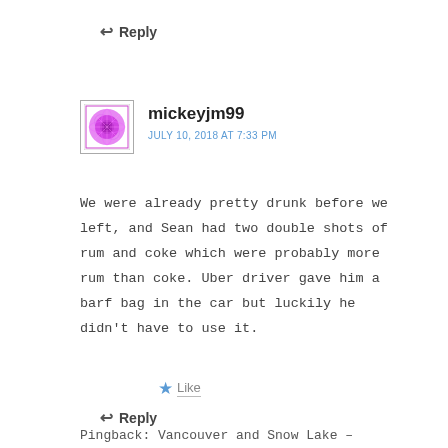↩ Reply
[Figure (illustration): Avatar image for user mickeyjm99 - purple/magenta decorative mandala-like pattern in a bordered square]
mickeyjm99
JULY 10, 2018 AT 7:33 PM
We were already pretty drunk before we left, and Sean had two double shots of rum and coke which were probably more rum than coke. Uber driver gave him a barf bag in the car but luckily he didn't have to use it.
★ Like
↩ Reply
Pingback: Vancouver and Snow Lake –